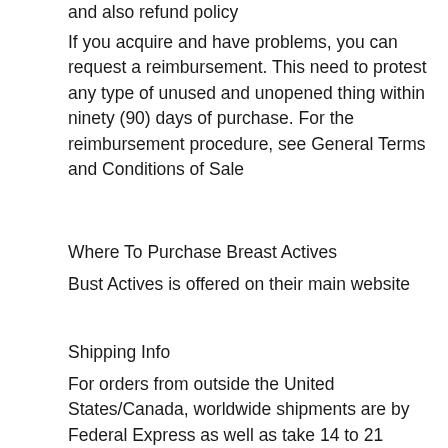and also refund policy
If you acquire and have problems, you can request a reimbursement. This need to protest any type of unused and unopened thing within ninety (90) days of purchase. For the reimbursement procedure, see General Terms and Conditions of Sale
Where To Purchase Breast Actives
Bust Actives is offered on their main website
Shipping Info
For orders from outside the United States/Canada, worldwide shipments are by Federal Express as well as take 14 to 21 days. This is